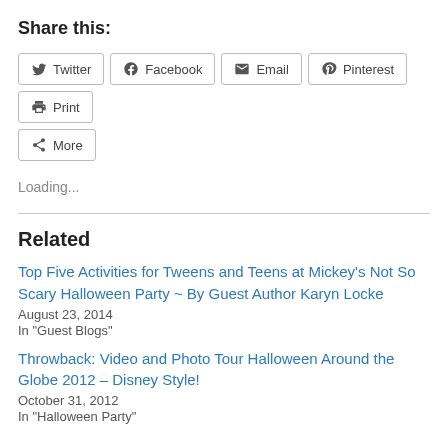Share this:
Twitter
Facebook
Email
Pinterest
Print
More
Loading...
Related
Top Five Activities for Tweens and Teens at Mickey's Not So Scary Halloween Party ~ By Guest Author Karyn Locke
August 23, 2014
In "Guest Blogs"
Throwback: Video and Photo Tour Halloween Around the Globe 2012 – Disney Style!
October 31, 2012
In "Halloween Party"